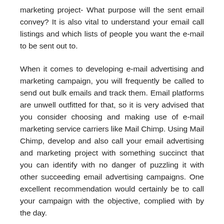marketing project- What purpose will the sent email convey? It is also vital to understand your email call listings and which lists of people you want the e-mail to be sent out to.
When it comes to developing e-mail advertising and marketing campaign, you will frequently be called to send out bulk emails and track them. Email platforms are unwell outfitted for that, so it is very advised that you consider choosing and making use of e-mail marketing service carriers like Mail Chimp. Using Mail Chimp, develop and also call your email advertising and marketing project with something succinct that you can identify with no danger of puzzling it with other succeeding email advertising campaigns. One excellent recommendation would certainly be to call your campaign with the objective, complied with by the day.
Email Creation